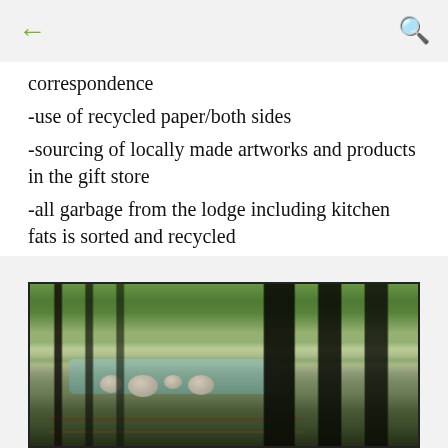← [back] [search]
correspondence
-use of recycled paper/both sides
-sourcing of locally made artworks and products in the gift store
-all garbage from the lodge including kitchen fats is sorted and recycled
[Figure (photo): Outdoor nature scene showing a rocky stream or river with clear/green water, surrounded by bamboo trees and tropical vegetation, with a wooden railing/fence in the foreground.]